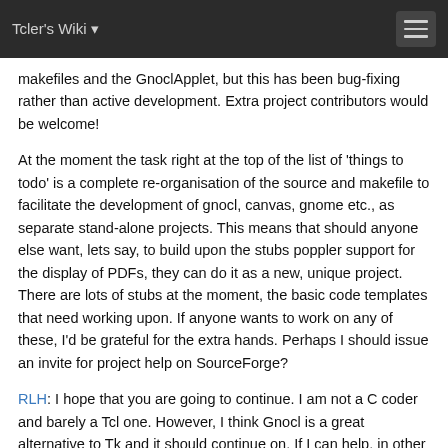Tcler's Wiki
makefiles and the GnoclApplet, but this has been bug-fixing rather than active development. Extra project contributors would be welcome!
At the moment the task right at the top of the list of 'things to todo' is a complete re-organisation of the source and makefile to facilitate the development of gnocl, canvas, gnome etc., as separate stand-alone projects. This means that should anyone else want, lets say, to build upon the stubs poppler support for the display of PDFs, they can do it as a new, unique project. There are lots of stubs at the moment, the basic code templates that need working upon. If anyone wants to work on any of these, I'd be grateful for the extra hands. Perhaps I should issue an invite for project help on SourceForge?
RLH: I hope that you are going to continue. I am not a C coder and barely a Tcl one. However, I think Gnocl is a great alternative to Tk and it should continue on. If I can help, in other ways please let me know.
WJG 2009-09-29: Thanks, I might take you up on that offer! !